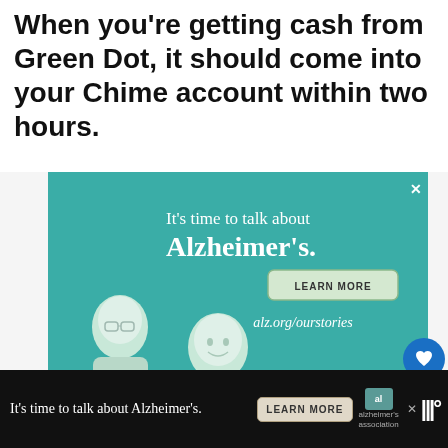When you're getting cash from Green Dot, it should come into your Chime account within two hours.
[Figure (illustration): Advertisement for Alzheimer's Association. Teal background with text 'It's time to talk about Alzheimer's.' and a 'LEARN MORE' button, URL 'alz.org/ourstories', illustrated figures of two people, and Alzheimer's Association logo. Has a close (X) button in top right corner.]
[Figure (screenshot): Bottom banner ad repeating the Alzheimer's Association advertisement on a dark background, with 'It's time to talk about Alzheimer's.' text, LEARN MORE button, and logo. Social sharing icons visible on the right.]